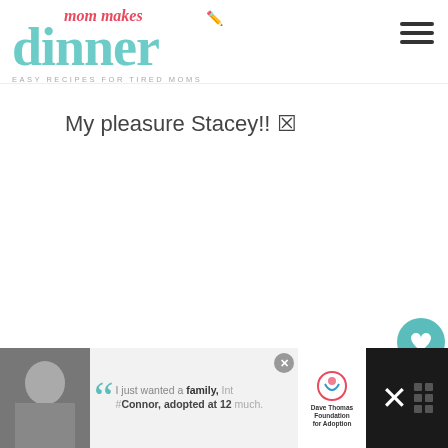mom makes dinner — EASY RECIPES FOR TIRED MOMS
My pleasure Stacey!! 🔲
BECCA FROM ITSYUMMI!
SAYS
MAY 17, 2014 AT 2:59 PM
[Figure (infographic): What's Next widget showing thumbnail image and text '101 Summer Crafts for Kids']
[Figure (infographic): Advertisement banner with Dave Thomas Foundation for Adoption quote 'I just wanted a family, not a Connor, adopted at 12 much.']